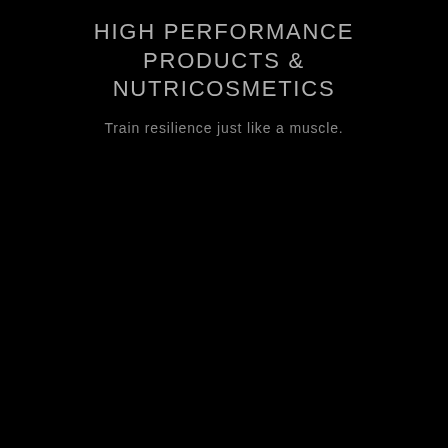HIGH PERFORMANCE PRODUCTS & NUTRICOSMETICS
Train resilience just like a muscle.